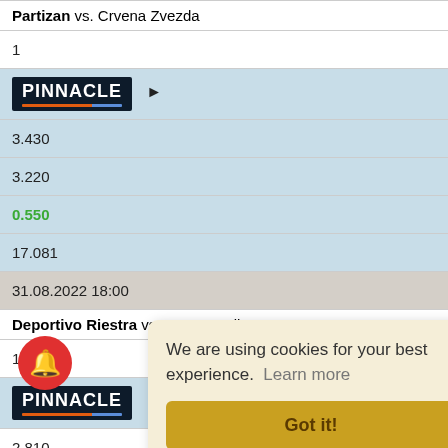Partizan vs. Crvena Zvezda
1
[Figure (logo): Pinnacle sportsbook logo with navigation arrow]
3.430
3.220
0.550
17.081
31.08.2022 18:00
Deportivo Riestra vs. Ferro Carril Oeste
1
[Figure (logo): Pinnacle sportsbook logo]
2.810
2.670
24.345
We are using cookies for your best experience. Learn more
Got it!